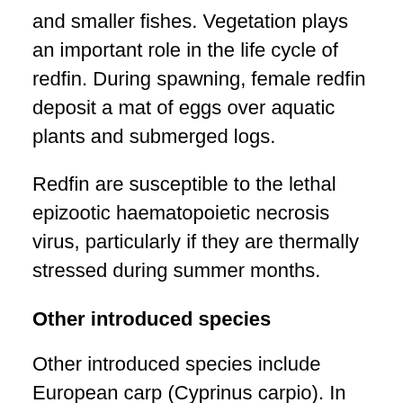and smaller fishes. Vegetation plays an important role in the life cycle of redfin. During spawning, female redfin deposit a mat of eggs over aquatic plants and submerged logs.
Redfin are susceptible to the lethal epizootic haematopoietic necrosis virus, particularly if they are thermally stressed during summer months.
Other introduced species
Other introduced species include European carp (Cyprinus carpio). In Victoria, European carp has been declared under the Fisheries Act 1995 as a noxious aquatic species and it is an offence to return the species to the water alive. Roach